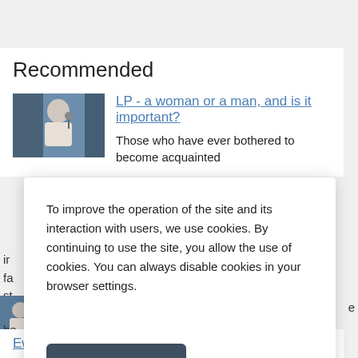Recommended
[Figure (photo): Thumbnail photo of a person with a microphone on stage in a white shirt]
LP - a woman or a man, and is it important?
Those who have ever bothered to become acquainted
To improve the operation of the site and its interaction with users, we use cookies. By continuing to use the site, you allow the use of cookies. You can always disable cookies in your browser settings.
Accept
Ewan McGregor: filmography, biography